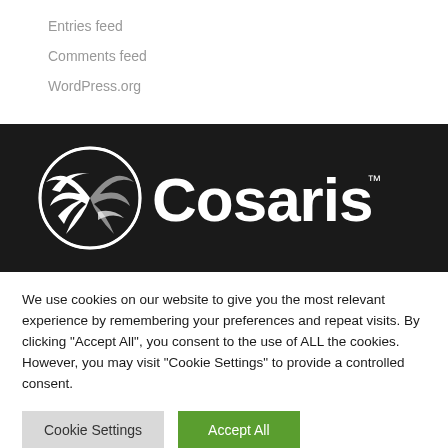Entries feed
Comments feed
WordPress.org
[Figure (logo): Cosaris company logo — white globe/bird icon and white 'Cosaris™' wordmark on a dark/black background banner]
We use cookies on our website to give you the most relevant experience by remembering your preferences and repeat visits. By clicking "Accept All", you consent to the use of ALL the cookies. However, you may visit "Cookie Settings" to provide a controlled consent.
Cookie Settings | Accept All